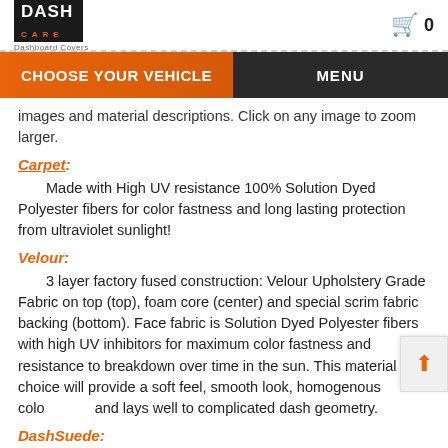DASH CARE Dashboard Covers | Cart 0
CHOOSE YOUR VEHICLE | MENU
images and material descriptions. Click on any image to zoom larger.
Carpet:
Made with High UV resistance 100% Solution Dyed Polyester fibers for color fastness and long lasting protection from ultraviolet sunlight!
Velour:
3 layer factory fused construction: Velour Upholstery Grade Fabric on top (top), foam core (center) and special scrim fabric backing (bottom). Face fabric is Solution Dyed Polyester fibers with high UV inhibitors for maximum color fastness and resistance to breakdown over time in the sun. This material choice will provide a soft feel, smooth look, homogenous color and lays well to complicated dash geometry.
DashSuede:
Same 3 layer construction as the Velour above. Face fabric is Solution Dyed Polyester with high UV inhibitors for maximum color fastness and resistance to breakdown over time in the sun.